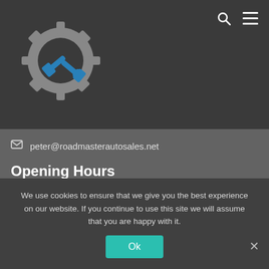[Figure (logo): Gear with hammer and wrench tools logo in gray and blue]
peter@roadmasterautosales.net
Opening Hours
Monday: 8:00 AM - 10:00 PM
Tuesday: 8:00 AM - 12:00 PM
Wednesday: 8:00 AM - 5:00 PM
Thursday 8:00 AM - 2:00 PM
Friday: 8:00 AM - 6:00 PM
Saturday: 9:00 AM -2:30 PM
We use cookies to ensure that we give you the best experience on our website. If you continue to use this site we will assume that you are happy with it.